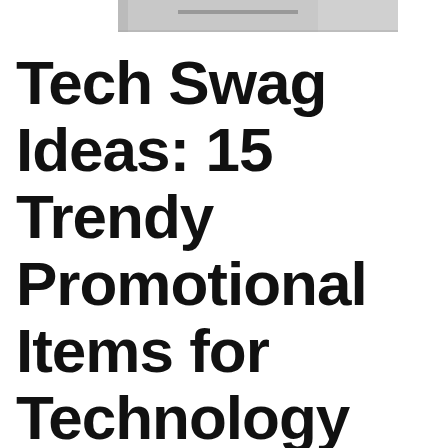[Figure (photo): Partial image of a notebook or device on a white surface, cropped at the top of the page]
Tech Swag Ideas: 15 Trendy Promotional Items for Technology Giveaways in 2021